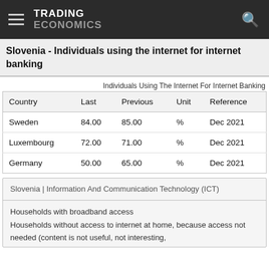TRADING ECONOMICS
Slovenia - Individuals using the internet for internet banking
Individuals Using The Internet For Internet Banking
| Country | Last | Previous | Unit | Reference |
| --- | --- | --- | --- | --- |
| Sweden | 84.00 | 85.00 | % | Dec 2021 |
| Luxembourg | 72.00 | 71.00 | % | Dec 2021 |
| Germany | 50.00 | 65.00 | % | Dec 2021 |
Slovenia | Information And Communication Technology (ICT)
Households with broadband access
Households without access to internet at home, because access not needed (content is not useful, not interesting,